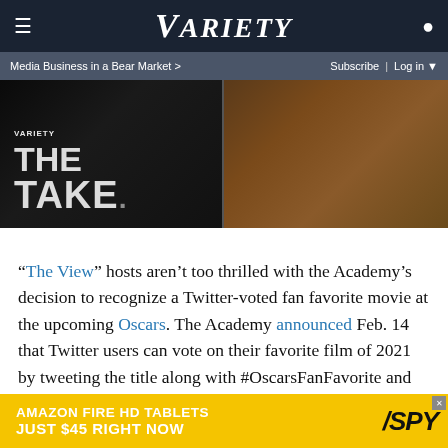VARIETY
Media Business in a Bear Market >  Subscribe | Log in
[Figure (screenshot): Hero image split panel: left side dark background with 'VARIETY THE TAKE' text overlay, right side shows a person in muddy outdoor scene]
“The View” hosts aren’t too thrilled with the Academy’s decision to recognize a Twitter-voted fan favorite movie at the upcoming Oscars. The Academy announced Feb. 14 that Twitter users can vote on their favorite film of 2021 by tweeting the title along with #OscarsFanFavorite and #Sweepstakes. Voting is now open and Twitter users can vote up to 20 times per day. The winning movie will be revealed March 27 during the Oscars ceremony.
[Figure (screenshot): Advertisement banner: Amazon Fire HD Tablets Just $45 Right Now - SPY logo]